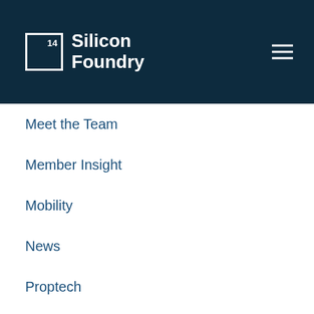[Figure (logo): Silicon Foundry logo with '14' in a box and white text on dark navy background, plus hamburger menu icon]
Meet the Team
Member Insight
Mobility
News
Proptech
Public-private Partnerships
Remote Work